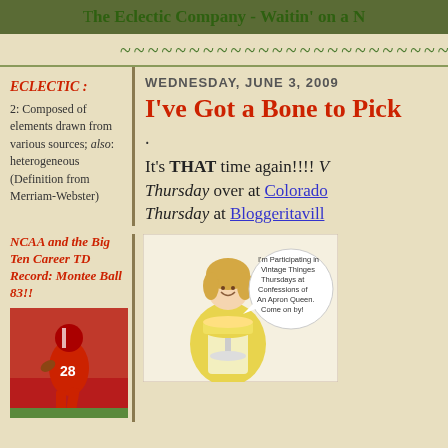The Eclectic Company - Waitin' on a N
~~~~~~~~~~~~~~~~~~~~~~~~~~~~~~~~~~
ECLECTIC :
2: Composed of elements drawn from various sources; also: heterogeneous (Definition from Merriam-Webster)
WEDNESDAY, JUNE 3, 2009
I've Got a Bone to Pick
.
It's THAT time again!!!! Vintage Thinges Thursday over at Colorado Thursday at Bloggeritavill
NCAA and the Big Ten Career TD Record: Montee Ball 83!!
[Figure (photo): Football player wearing red jersey number 28 running with ball]
[Figure (illustration): Vintage illustration of woman in apron holding cake with speech bubble: I'm Participating in Vintage Thinges Thursdays at Confessions of An Apron Queen. Come on by!]